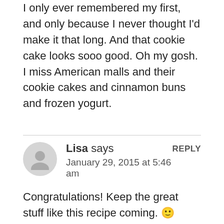I only ever remembered my first, and only because I never thought I'd make it that long. And that cookie cake looks sooo good. Oh my gosh. I miss American malls and their cookie cakes and cinnamon buns and frozen yogurt.
Lisa says — January 29, 2015 at 5:46 am — REPLY
Congratulations! Keep the great stuff like this recipe coming. 🙂
Brenda@SugarFreeMom says — January 29, 2015 at 7:36 am — REPLY